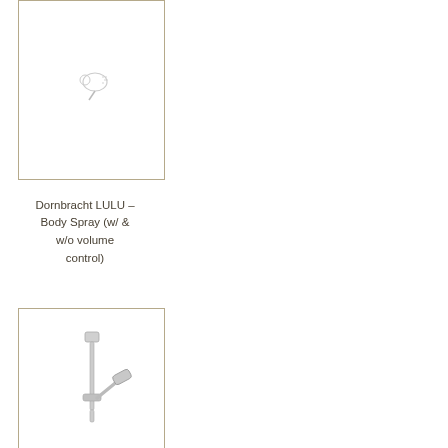[Figure (photo): Product image of Dornbracht LULU Body Spray with a small spray head icon visible at top, shown in a bordered white box]
Dornbracht LULU – Body Spray (w/ & w/o volume control)
[Figure (photo): Product image of Dornbracht LULU Body Spray showing a chrome wall-mounted body spray with a sliding bar and handheld spray head, shown in a bordered white box]